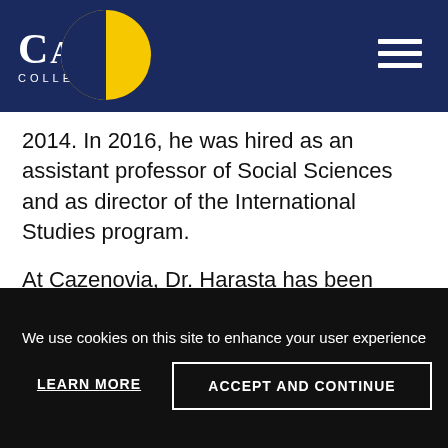CAZ COLLEGE
2014. In 2016, he was hired as an assistant professor of Social Sciences and as director of the International Studies program.
At Cazenovia, Dr. Harasta has been instrumental in administering international programs, spearheading a new study-abroad location in Japan, establishing new courses in Japanese and Arabic, starting the College's first international student exchange and a new summer program for international high school students, and organizing international...
We use cookies on this site to enhance your user experience
LEARN MORE
ACCEPT AND CONTINUE